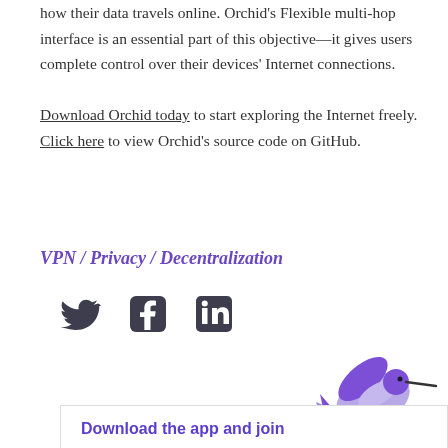how their data travels online. Orchid's Flexible multi-hop interface is an essential part of this objective—it gives users complete control over their devices' Internet connections.

Download Orchid today to start exploring the Internet freely. Click here to view Orchid's source code on GitHub.
VPN / Privacy / Decentralization
[Figure (illustration): Three social media icons: Twitter bird, Facebook 'f', LinkedIn 'in', rendered in dark gray.]
[Figure (illustration): Purple hummingbird illustration in the bottom right corner.]
Download the app and join